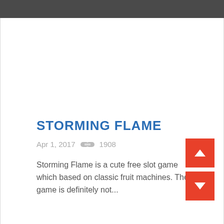STORMING FLAME
Apr 1, 2017  🔗 1908
Storming Flame is a cute free slot game which based on classic fruit machines. The game is definitely not...